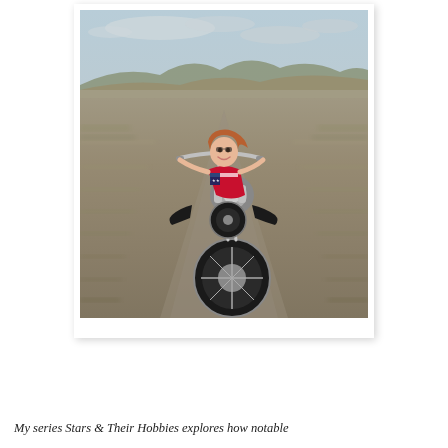[Figure (photo): A woman in a patriotic red, white and blue outfit rides a chopper motorcycle on an open desert highway. She is smiling and leaning back on the extended fork chopper. The background shows a blurred desert landscape with mountains and a cloudy sky, suggesting motion speed.]
My series Stars & Their Hobbies explores how notable